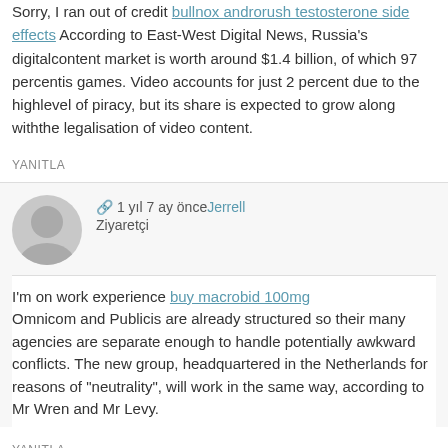Sorry, I ran out of credit bullnox androrush testosterone side effects According to East-West Digital News, Russia's digitalcontent market is worth around $1.4 billion, of which 97 percentis games. Video accounts for just 2 percent due to the highlevel of piracy, but its share is expected to grow along withthe legalisation of video content.
YANITLA
1 yıl 7 ay önce Jerrell
Ziyaretçi
I'm on work experience buy macrobid 100mg Omnicom and Publicis are already structured so their many agencies are separate enough to handle potentially awkward conflicts. The new group, headquartered in the Netherlands for reasons of "neutrality", will work in the same way, according to Mr Wren and Mr Levy.
YANITLA
1 yıl 7 ay önce Vince
Ziyaretçi